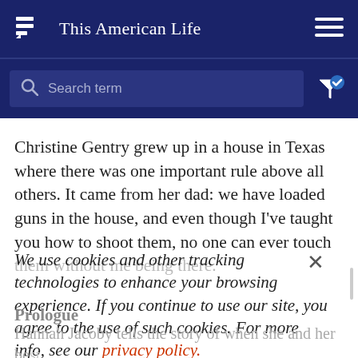This American Life
[Figure (screenshot): Search bar with magnifying glass icon and placeholder text 'Search term', with filter icon on the right]
Christine Gentry grew up in a house in Texas where there was one important rule above all others. It came from her dad: we have loaded guns in the house, and even though I've taught you how to shoot them, no one can ever touch them without me being there.
We use cookies and other tracking technologies to enhance your browsing experience. If you continue to use our site, you agree to the use of such cookies. For more info, see our privacy policy.
Hannah Jacoby tells the story of when she and her best friend to be clear about the situation. Alive with the
Prologue